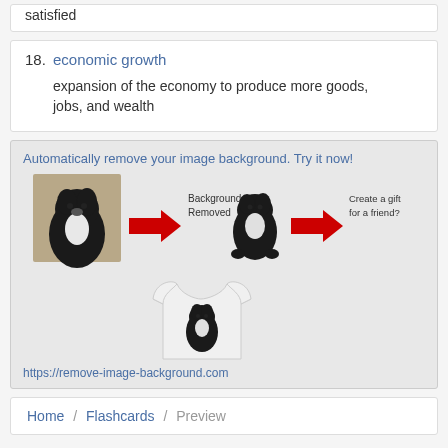satisfied
18. economic growth — expansion of the economy to produce more goods, jobs, and wealth
[Figure (photo): Advertisement for remove-image-background.com showing a dog photo with background removed and placed on a t-shirt, with red arrows indicating the steps. Text: 'Automatically remove your image background. Try it now!' and URL https://remove-image-background.com]
Home / Flashcards / Preview